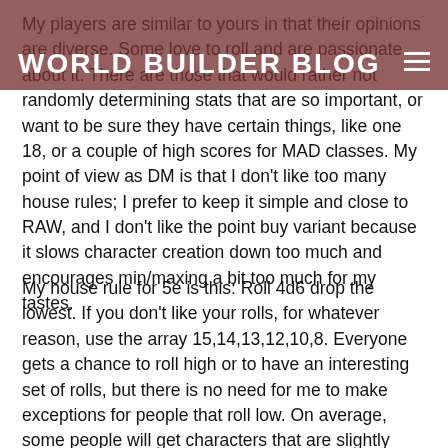WORLD BUILDER BLOG
My players are similar to yours in that their opinions are diverse. Some love to roll and are passionate about it. There are those that would rather not randomly determining stats that are so important, or want to be sure they have certain things, like one 18, or a couple of high scores for MAD classes. My point of view as DM is that I don't like too many house rules; I prefer to keep it simple and close to RAW, and I don't like the point buy variant because it slows character creation down too much and encourages min/maxing a bit too much for my tastes.
My house rule for 5e is this: Roll 4d6 drop the lowest. If you don't like your rolls, for whatever reason, use the array 15,14,13,12,10,8. Everyone gets a chance to roll high or to have an interesting set of rolls, but there is no need for me to make exceptions for people that roll low. On average, some people will get characters that are slightly better, and sometimes they will roll very high. But I think what this will do is satisfy everyone; fans of rolling get to roll, those who are fans of arrays have a good one available.